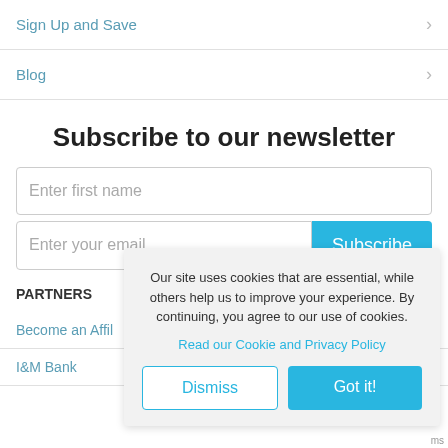Sign Up and Save
Blog
Subscribe to our newsletter
Enter first name
Enter your email
PARTNERS
Become an Affil
I&M Bank
Our site uses cookies that are essential, while others help us to improve your experience. By continuing, you agree to our use of cookies.
Read our Cookie and Privacy Policy
Dismiss
Got it!